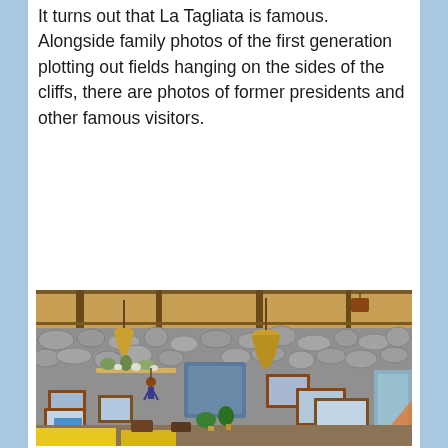It turns out that La Tagliata is famous. Alongside family photos of the first generation plotting out fields hanging on the sides of the cliffs, there are photos of former presidents and other famous visitors.
[Figure (photo): Interior of La Tagliata restaurant with stone walls decorated with framed photos and paintings, hanging wicker baskets, wooden ceiling beams, plants, and tables with yellow tablecloths visible at the bottom.]